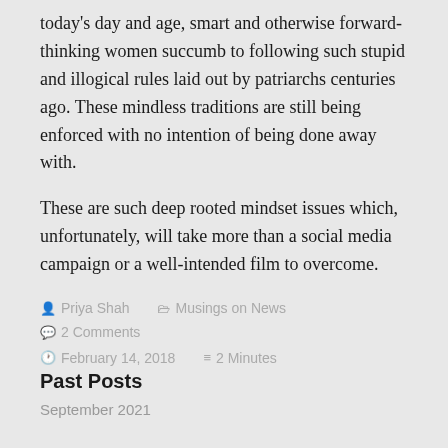today's day and age, smart and otherwise forward-thinking women succumb to following such stupid and illogical rules laid out by patriarchs centuries ago. These mindless traditions are still being enforced with no intention of being done away with.
These are such deep rooted mindset issues which, unfortunately, will take more than a social media campaign or a well-intended film to overcome.
Priya Shah   Musings on News   2 Comments   February 14, 2018   2 Minutes
Past Posts
September 2021